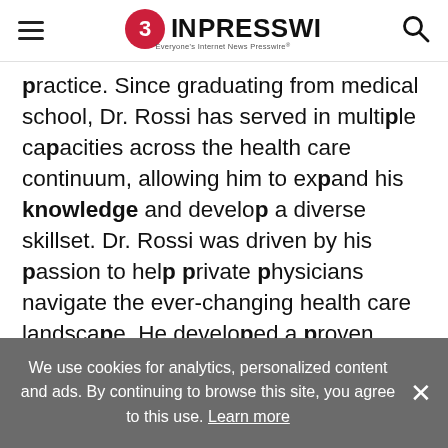EIN PRESSWIRE — Everyone's Internet News Presswire
practice. Since graduating from medical school, Dr. Rossi has served in multiple capacities across the health care continuum, allowing him to expand his knowledge and develop a diverse skillset. Dr. Rossi was driven by his passion to help private physicians navigate the ever-changing health care landscape. He developed a proven model for private practice management and continued to develop his model as he grew a Central Illinois single-provider practice into a robust multi-
We use cookies for analytics, personalized content and ads. By continuing to browse this site, you agree to this use. Learn more